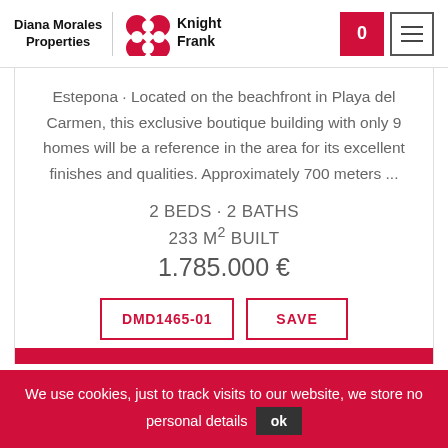[Figure (logo): Diana Morales Properties | Knight Frank logo with red diamond shapes]
Estepona · Located on the beachfront in Playa del Carmen, this exclusive boutique building with only 9 homes will be a reference in the area for its excellent finishes and qualities. Approximately 700 meters ...
2 BEDS · 2 BATHS
233 M² BUILT
1.785.000 €
DMD1465-01
SAVE
We use cookies, just to track visits to our website, we store no personal details ok